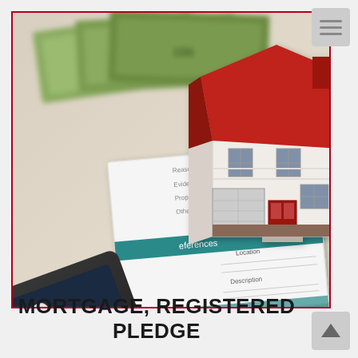[Figure (photo): Photo of a 3D model house with red roof, a calculator showing '0', and mortgage/property reference documents arranged together, representing mortgage and property financing concepts.]
MORTGAGE, REGISTERED PLEDGE